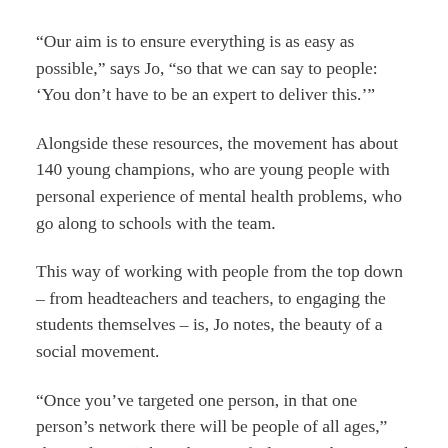“Our aim is to ensure everything is as easy as possible,” says Jo, “so that we can say to people: ‘You don’t have to be an expert to deliver this.’”
Alongside these resources, the movement has about 140 young champions, who are young people with personal experience of mental health problems, who go along to schools with the team.
This way of working with people from the top down – from headteachers and teachers, to engaging the students themselves – is, Jo notes, the beauty of a social movement.
“Once you’ve targeted one person, in that one person’s network there will be people of all ages,” she explains. “That’s how we feel we can best spread the messaging and